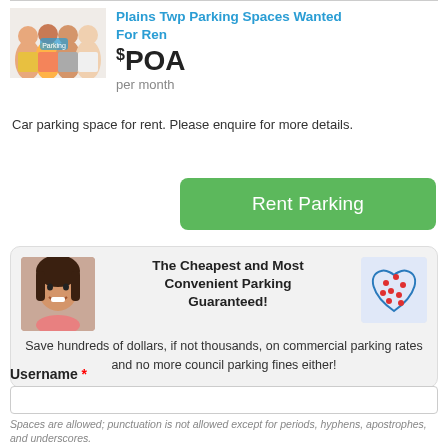Plains Twp Parking Spaces Wanted For Ren
$POA per month
[Figure (photo): Group of diverse people standing together, parking-related image]
Car parking space for rent. Please enquire for more details.
Rent Parking
[Figure (photo): Smiling woman with long dark hair]
[Figure (map): Heart-shaped map with red location pins]
The Cheapest and Most Convenient Parking Guaranteed!
Save hundreds of dollars, if not thousands, on commercial parking rates and no more council parking fines either!
Username *
Spaces are allowed; punctuation is not allowed except for periods, hyphens, apostrophes, and underscores.